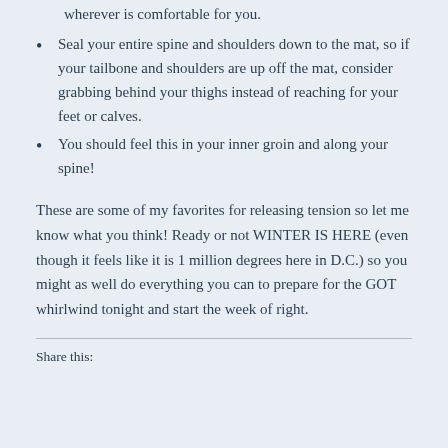wherever is comfortable for you.
Seal your entire spine and shoulders down to the mat, so if your tailbone and shoulders are up off the mat, consider grabbing behind your thighs instead of reaching for your feet or calves.
You should feel this in your inner groin and along your spine!
These are some of my favorites for releasing tension so let me know what you think! Ready or not WINTER IS HERE (even though it feels like it is 1 million degrees here in D.C.) so you might as well do everything you can to prepare for the GOT whirlwind tonight and start the week of right.
Share this: